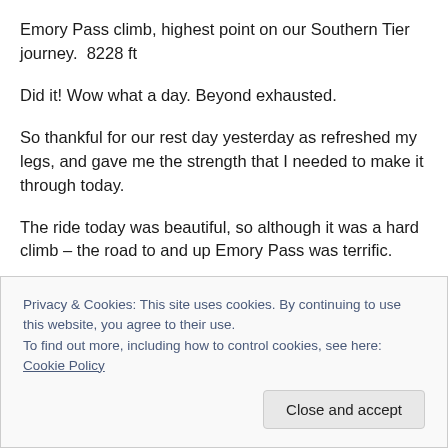Emory Pass climb, highest point on our Southern Tier journey.  8228 ft
Did it! Wow what a day. Beyond exhausted.
So thankful for our rest day yesterday as refreshed my legs, and gave me the strength that I needed to make it through today.
The ride today was beautiful, so although it was a hard climb – the road to and up Emory Pass was terrific.
Privacy & Cookies: This site uses cookies. By continuing to use this website, you agree to their use.
To find out more, including how to control cookies, see here: Cookie Policy